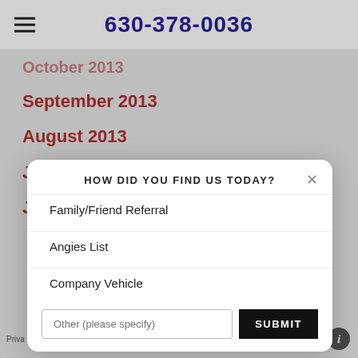630-378-0036
October 2013
September 2013
August 2013
July 2013
June 2013
HOW DID YOU FIND US TODAY?
Family/Friend Referral
Angies List
Company Vehicle
Other (please specify)
SUBMIT